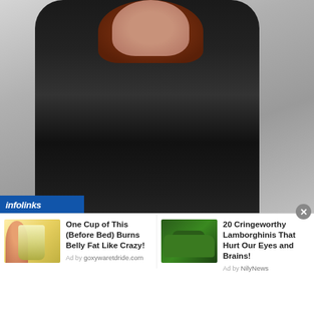[Figure (photo): A person with red/auburn hair wearing a shiny black leather outfit with a belt, posed against a light grey background, viewed from the torso up from behind/side angle.]
infolinks
[Figure (photo): Ad thumbnail: illustration of person drinking from a glass with yellow liquid.]
One Cup of This (Before Bed) Burns Belly Fat Like Crazy!
Ad by goxywaretdride.com
[Figure (photo): Ad thumbnail: green Lamborghini car.]
20 Cringeworthy Lamborghinis That Hurt Our Eyes and Brains!
Ad by NilyNews